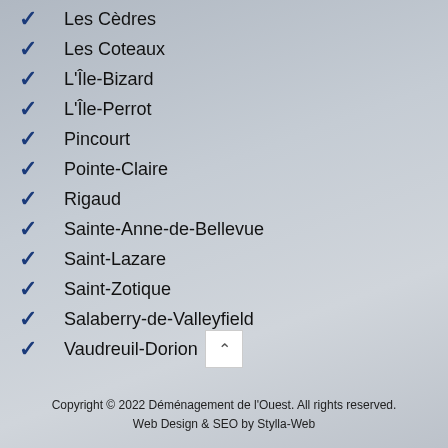Les Cèdres
Les Coteaux
L'Île-Bizard
L'Île-Perrot
Pincourt
Pointe-Claire
Rigaud
Sainte-Anne-de-Bellevue
Saint-Lazare
Saint-Zotique
Salaberry-de-Valleyfield
Vaudreuil-Dorion
Copyright © 2022 Déménagement de l'Ouest. All rights reserved. Web Design & SEO by Stylla-Web